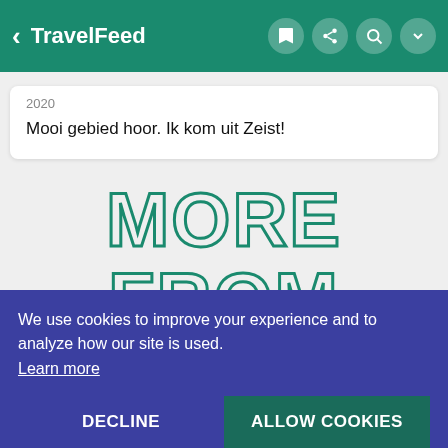TravelFeed
2020
Mooi gebied hoor. Ik kom uit Zeist!
MORE FROM
BELGIUM
We use cookies to improve your experience and to analyze how our site is used.
Learn more
DECLINE
ALLOW COOKIES